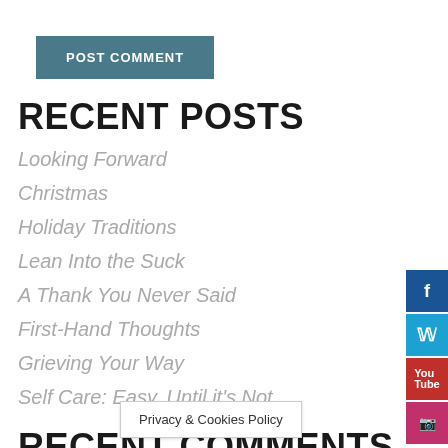POST COMMENT
RECENT POSTS
Looking Forward
Christmas
Holiday Traditions
Lean Into the Suck
A Thank You Never Said
First-Hand Thoughts
Grieving Your Way
Self Care: Easy, Until it's Not
RECENT COMMENTS
Privacy & Cookies Policy